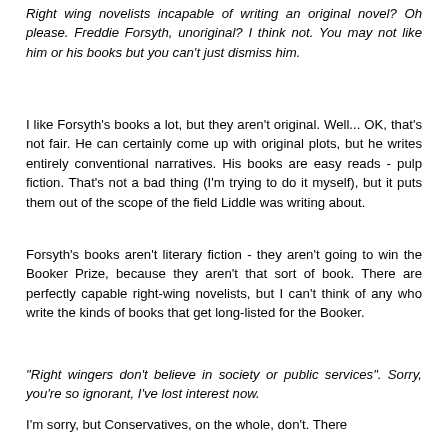Right wing novelists incapable of writing an original novel? Oh please. Freddie Forsyth, unoriginal? I think not. You may not like him or his books but you can't just dismiss him.
I like Forsyth's books a lot, but they aren't original. Well... OK, that's not fair. He can certainly come up with original plots, but he writes entirely conventional narratives. His books are easy reads - pulp fiction. That's not a bad thing (I'm trying to do it myself), but it puts them out of the scope of the field Liddle was writing about.
Forsyth's books aren't literary fiction - they aren't going to win the Booker Prize, because they aren't that sort of book. There are perfectly capable right-wing novelists, but I can't think of any who write the kinds of books that get long-listed for the Booker.
"Right wingers don't believe in society or public services". Sorry, you're so ignorant, I've lost interest now.
I'm sorry, but Conservatives, on the whole, don't. There